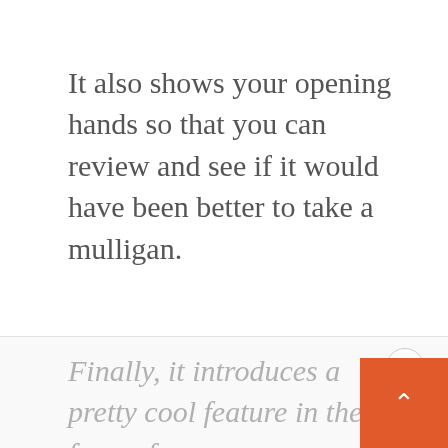It also shows your opening hands so that you can review and see if it would have been better to take a mulligan.
Finally, it introduces a pretty cool feature in the form of Achievements, where you get